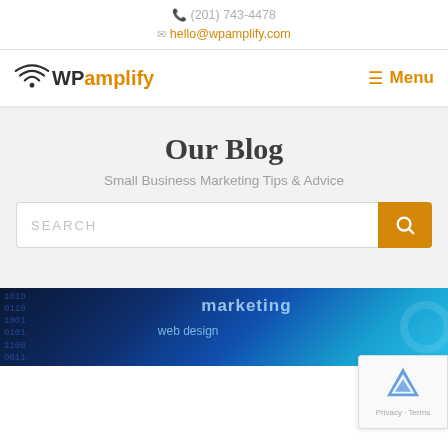(201) 743-4478
hello@wpamplify.com
[Figure (logo): WPamplify logo with wifi icon and Menu button]
Our Blog
Small Business Marketing Tips & Advice
SEARCH
[Figure (photo): Digital marketing web design technology background image with gears and icons]